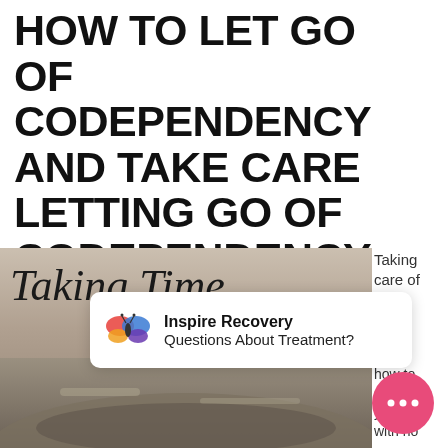HOW TO LET GO OF CODEPENDENCY AND TAKE CARE LETTING GO OF CODEPENDENCY IN RECOVERY
[Figure (photo): Photo collage: 'Taking Time' script text overlay on wellness image, person lying down in yoga/relaxation pose]
Taking care of
how to enjoy you with no
Inspire Recovery
Questions About Treatment?